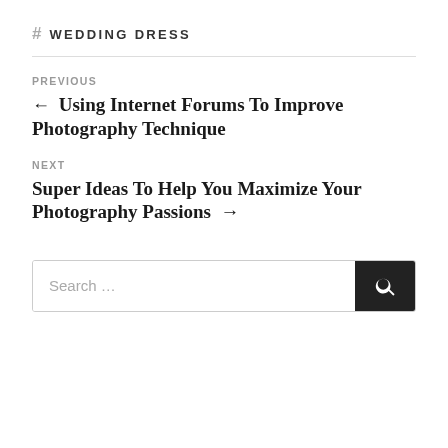# WEDDING DRESS
PREVIOUS
← Using Internet Forums To Improve Photography Technique
NEXT
Super Ideas To Help You Maximize Your Photography Passions →